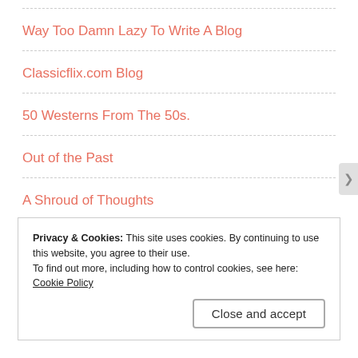Way Too Damn Lazy To Write A Blog
Classicflix.com Blog
50 Westerns From The 50s.
Out of the Past
A Shroud of Thoughts
Wide Screen World
Laura's Miscellaneous Musings
Privacy & Cookies: This site uses cookies. By continuing to use this website, you agree to their use.
To find out more, including how to control cookies, see here: Cookie Policy
Close and accept